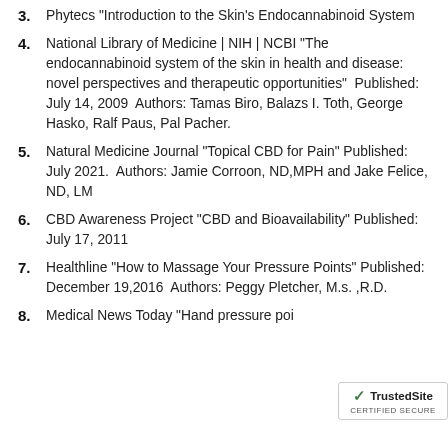3. Phytecs “Introduction to the Skin’s Endocannabinoid System
4. National Library of Medicine | NIH | NCBI “The endocannabinoid system of the skin in health and disease: novel perspectives and therapeutic opportunities”  Published: July 14, 2009  Authors: Tamas Biro, Balazs I. Toth, George Hasko, Ralf Paus, Pal Pacher.
5. Natural Medicine Journal “Topical CBD for Pain” Published: July 2021.  Authors: Jamie Corroon, ND,MPH and Jake Felice, ND, LM
6. CBD Awareness Project “CBD and Bioavailability” Published: July 17, 2011
7. Healthline “How to Massage Your Pressure Points” Published: December 19,2016  Authors: Peggy Pletcher, M.s. ,R.D.
8. Medical News Today “Hand pressure poi…